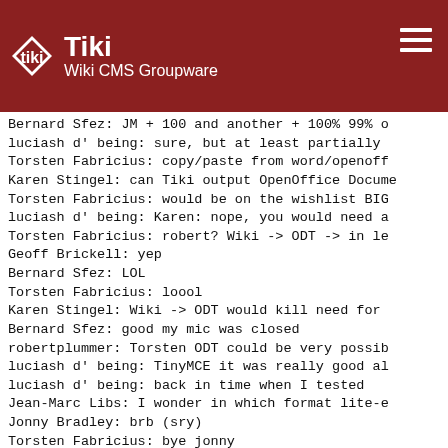Tiki Wiki CMS Groupware
Bernard Sfez: JM + 100 and another + 100% 99% o
luciash d' being: sure, but at least partially
Torsten Fabricius: copy/paste from word/openoff
Karen Stingel: can Tiki output OpenOffice Docume
Torsten Fabricius: would be on the wishlist BIG
luciash d' being: Karen: nope, you would need a
Torsten Fabricius: robert? Wiki -> ODT -> in le
Geoff Brickell: yep
Bernard Sfez: LOL
Torsten Fabricius: loool
Karen Stingel: Wiki -> ODT would kill need for
Bernard Sfez: good my mic was closed
robertplummer: Torsten ODT could be very possib
luciash d' being: TinyMCE it was really good al
luciash d' being: back in time when I tested
Jean-Marc Libs: I wonder in which format lite-e
Jonny Bradley: brb (sry)
Torsten Fabricius: bye jonny
luciash d' being: I wonder how much effort woul